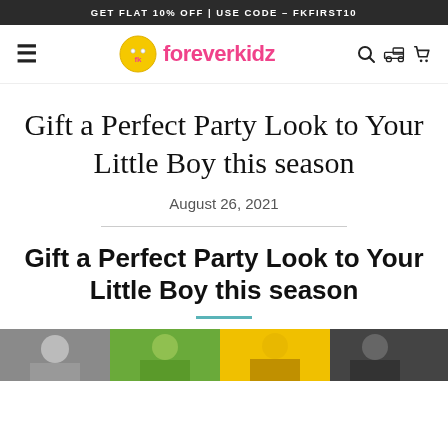GET FLAT 10% OFF | USE CODE – FKFIRST10
[Figure (logo): Foreverkidz website navigation bar with hamburger menu, foreverkidz logo (yellow button with F), pink brand name text, search icon, delivery icon, and cart icon]
Gift a Perfect Party Look to Your Little Boy this season
August 26, 2021
Gift a Perfect Party Look to Your Little Boy this season
[Figure (photo): Horizontal strip of children's photos at the bottom of the page showing multiple children]